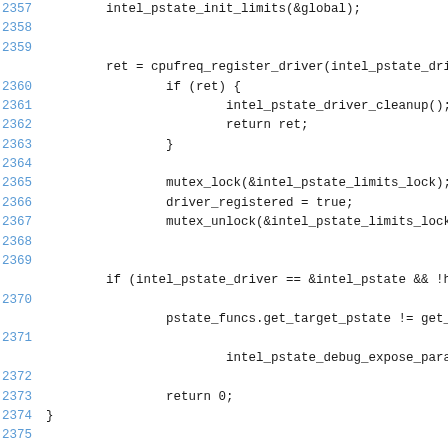Source code listing showing lines 2357–2377 of a Linux kernel C file (intel_pstate driver), including intel_pstate_init_limits, cpufreq_register_driver, mutex_lock/unlock, intel_pstate_driver check, intel_pstate_debug_expose_params, and intel_pstate_unregister_driver function definition start.